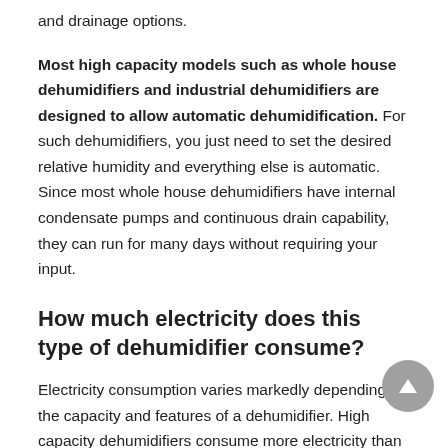and drainage options.
Most high capacity models such as whole house dehumidifiers and industrial dehumidifiers are designed to allow automatic dehumidification. For such dehumidifiers, you just need to set the desired relative humidity and everything else is automatic. Since most whole house dehumidifiers have internal condensate pumps and continuous drain capability, they can run for many days without requiring your input.
How much electricity does this type of dehumidifier consume?
Electricity consumption varies markedly depending on the capacity and features of a dehumidifier. High capacity dehumidifiers consume more electricity than low capacity units. The total energy consumed by a dehumidifier is dependent on the number of operation hours